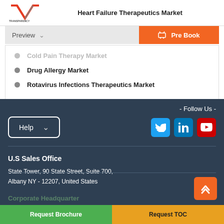Heart Failure Therapeutics Market
Cold Pain Therapy Market
Drug Allergy Market
Rotavirus Infections Therapeutics Market
- Follow Us -
Help
U.S Sales Office
State Tower, 90 State Street, Suite 700, Albany NY - 12207, United States
Corporate Headquarter
Request Brochure
Request TOC